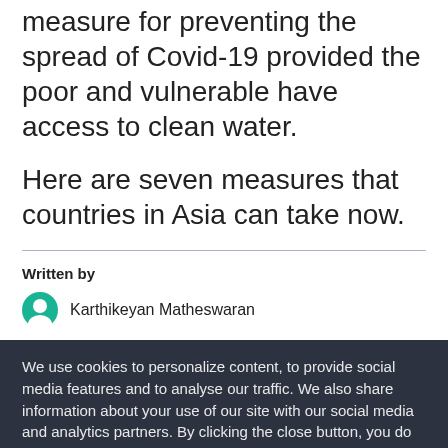measure for preventing the spread of Covid-19 provided the poor and vulnerable have access to clean water.
Here are seven measures that countries in Asia can take now.
Written by
Karthikeyan Matheswaran
We use cookies to personalize content, to provide social media features and to analyse our traffic. We also share information about your use of our site with our social media and analytics partners. By clicking the close button, you do not accept cookies for this website. Some functions of this website may not work without cookies.- Read our cookie notice